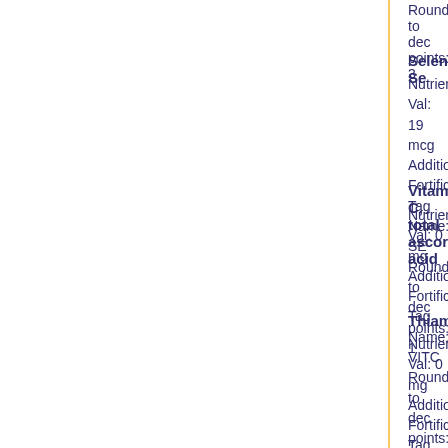Rounded to dec points: 3
Selenium, Se
Nutrient Val: 19 mcg
Additional Fortification:
Tag Name: SE
Rounded to dec points: 1
Vitamin C, total ascorbic acid
Nutrient Val: 0 mg
Additional Fortification:
Tag Name: VITC
Rounded to dec points: 1
Thiamin
Nutrient Val: 0 mg
Additional Fortification:
Tag Name: THIA
Rounded to dec points: 3
Riboflavin
Nutrient Val: 0 mg
Additional Fortification:
Tag Name: RIBF
Rounded to dec points: 3